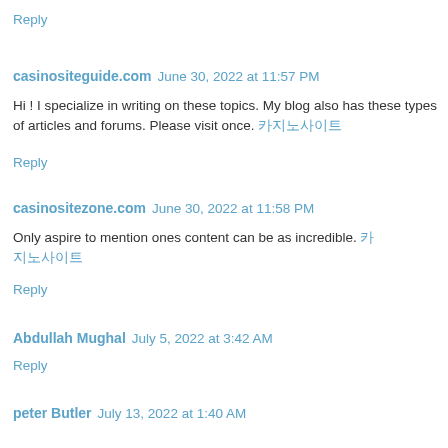Reply
casinositeguide.com  June 30, 2022 at 11:57 PM
Hi ! I specialize in writing on these topics. My blog also has these types of articles and forums. Please visit once. 카지노사이트
Reply
casinositezone.com  June 30, 2022 at 11:58 PM
Only aspire to mention ones content can be as incredible. 카지노사이트
Reply
Abdullah Mughal  July 5, 2022 at 3:42 AM
Reply
peter Butler  July 13, 2022 at 1:40 AM